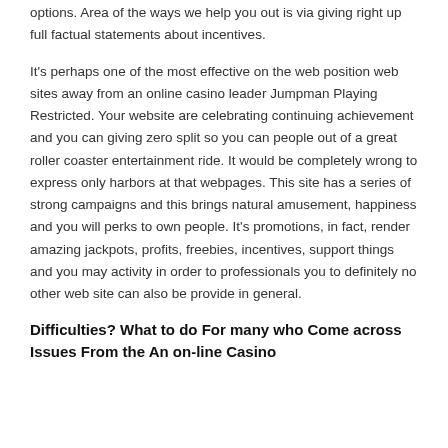options. Area of the ways we help you out is via giving right up full factual statements about incentives.
It's perhaps one of the most effective on the web position web sites away from an online casino leader Jumpman Playing Restricted. Your website are celebrating continuing achievement and you can giving zero split so you can people out of a great roller coaster entertainment ride. It would be completely wrong to express only harbors at that webpages. This site has a series of strong campaigns and this brings natural amusement, happiness and you will perks to own people. It's promotions, in fact, render amazing jackpots, profits, freebies, incentives, support things and you may activity in order to professionals you to definitely no other web site can also be provide in general.
Difficulties? What to do For many who Come across Issues From the An on-line Casino